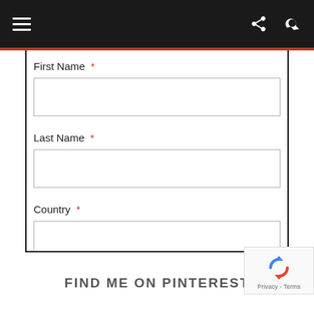[Figure (screenshot): Top navigation bar with hamburger menu icon on left, share and search icons on right, dark background]
First Name *
Last Name *
Country *
FIND ME ON PINTEREST
[Figure (logo): Google reCAPTCHA badge with spinning arrows logo and Privacy - Terms text]